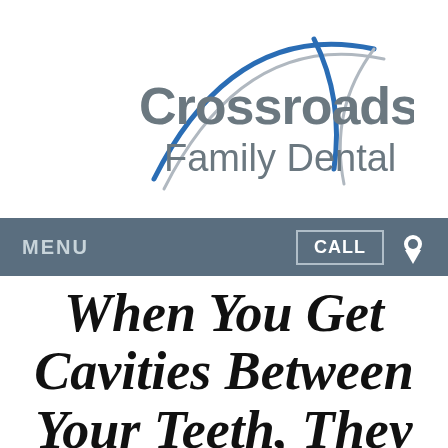[Figure (logo): Crossroads Family Dental logo with blue and gray arc lines forming an X shape, gray text reading 'Crossroads Family Dental']
MENU   CALL   [location icon]
When You Get Cavities Between Your Teeth, They Can Do a Lot of Damage